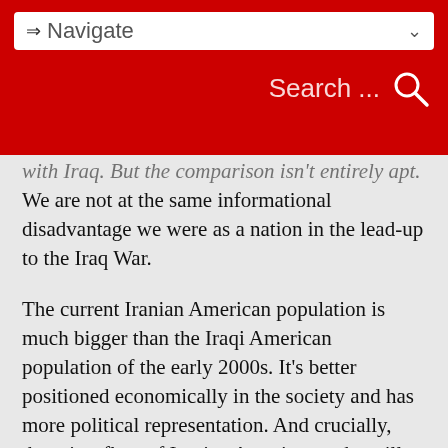Navigate | Search ...
with Iraq. But the comparison isn't entirely apt. We are not at the same informational disadvantage we were as a nation in the lead-up to the Iraq War.
The current Iranian American population is much bigger than the Iraqi American population of the early 2000s. It’s better positioned economically in the society and has more political representation. And crucially, there is a flow of Iranian Americans who still routinely travel to the country. Social media is rich with images from inside Iran telling myriad stories.
So, instead of resorting to false narratives and